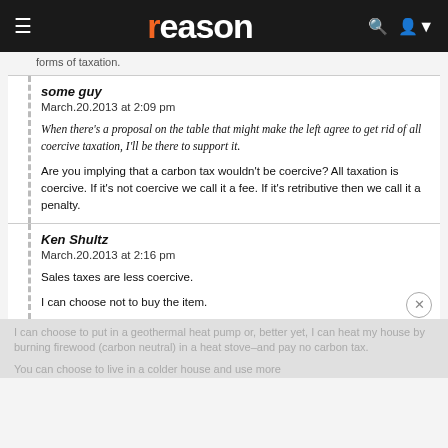reason
forms of taxation.
some guy
March.20.2013 at 2:09 pm

When there's a proposal on the table that might make the left agree to get rid of all coercive taxation, I'll be there to support it.

Are you implying that a carbon tax wouldn't be coercive? All taxation is coercive. If it's not coercive we call it a fee. If it's retributive then we call it a penalty.
Ken Shultz
March.20.2013 at 2:16 pm

Sales taxes are less coercive.

I can choose not to buy the item.
I can choose to put in a geothermal heat pump or, better yet, I can heat my house by burning firewood (carbon neutral) in a heat stove–and pay no carbon tax.
You can choose to live in a colder house and use more